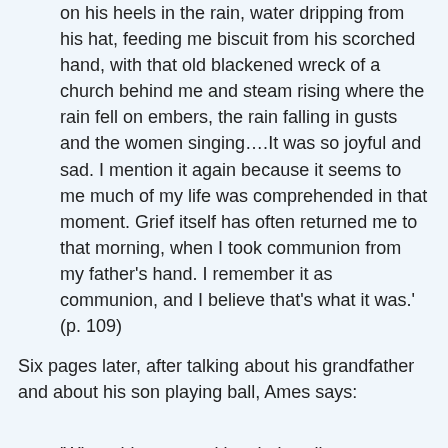on his heels in the rain, water dripping from his hat, feeding me biscuit from his scorched hand, with that old blackened wreck of a church behind me and steam rising where the rain fell on embers, the rain falling in gusts and the women singing….It was so joyful and sad. I mention it again because it seems to me much of my life was comprehended in that moment. Grief itself has often returned me to that morning, when I took communion from my father's hand. I remember it as communion, and I believe that's what it was.' (p. 109)
Six pages later, after talking about his grandfather and about his son playing ball, Ames says:
'When things are taking their ordinary course, it is hard to remember what matters. There are so many things you would never think to tell anyone. And I believe they may be the things that mean most to you, and that even your own child would have to know in order to know you well at all. I